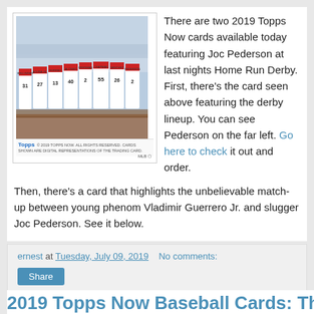[Figure (photo): Baseball card showing players lined up from behind with jersey numbers 31, 27, 13, 40, 2, 55, 26, 2 visible. Topps branding at bottom.]
There are two 2019 Topps Now cards available today featuring Joc Pederson at last nights Home Run Derby. First, there's the card seen above featuring the derby lineup. You can see Pederson on the far left. Go here to check it out and order.
Then, there's a card that highlights the unbelievable match-up between young phenom Vladimir Guerrero Jr. and slugger Joc Pederson. See it below.
ernest at Tuesday, July 09, 2019   No comments:
Share
2019 Topps Now Baseball Cards: The Ped...